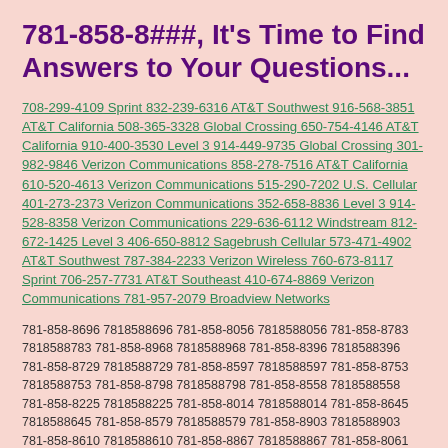781-858-8###, It's Time to Find Answers to Your Questions...
708-299-4109 Sprint 832-239-6316 AT&T Southwest 916-568-3851 AT&T California 508-365-3328 Global Crossing 650-754-4146 AT&T California 910-400-3530 Level 3 914-449-9735 Global Crossing 301-982-9846 Verizon Communications 858-278-7516 AT&T California 610-520-4613 Verizon Communications 515-290-7202 U.S. Cellular 401-273-2373 Verizon Communications 352-658-8836 Level 3 914-528-8358 Verizon Communications 229-636-6112 Windstream 812-672-1425 Level 3 406-650-8812 Sagebrush Cellular 573-471-4902 AT&T Southwest 787-384-2233 Verizon Wireless 760-673-8117 Sprint 706-257-7731 AT&T Southeast 410-674-8869 Verizon Communications 781-957-2079 Broadview Networks
781-858-8696 7818588696 781-858-8056 7818588056 781-858-8783 7818588783 781-858-8968 7818588968 781-858-8396 7818588396 781-858-8729 7818588729 781-858-8597 7818588597 781-858-8753 7818588753 781-858-8798 7818588798 781-858-8558 7818588558 781-858-8225 7818588225 781-858-8014 7818588014 781-858-8645 7818588645 781-858-8579 7818588579 781-858-8903 7818588903 781-858-8610 7818588610 781-858-8867 7818588867 781-858-8061